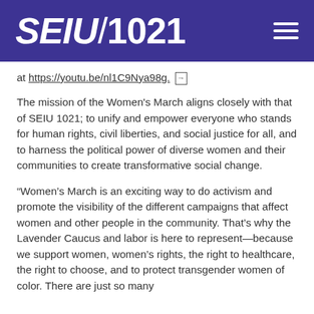SEIU/1021
at https://youtu.be/nl1C9Nya98g.
The mission of the Women's March aligns closely with that of SEIU 1021; to unify and empower everyone who stands for human rights, civil liberties, and social justice for all, and to harness the political power of diverse women and their communities to create transformative social change.
“Women’s March is an exciting way to do activism and promote the visibility of the different campaigns that affect women and other people in the community. That’s why the Lavender Caucus and labor is here to represent—because we support women, women’s rights, the right to healthcare, the right to choose, and to protect transgender women of color. There are just so many